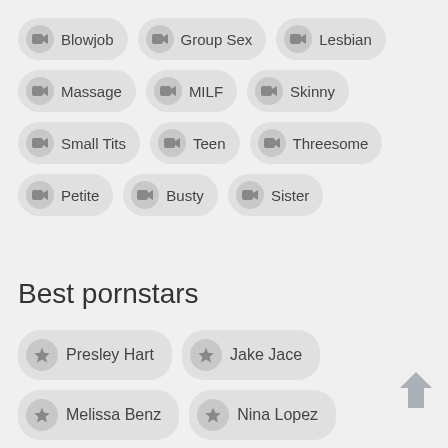Blowjob
Group Sex
Lesbian
Massage
MILF
Skinny
Small Tits
Teen
Threesome
Petite
Busty
Sister
Best pornstars
Presley Hart
Jake Jace
Melissa Benz
Nina Lopez
Cherry Torn
Terry Nova